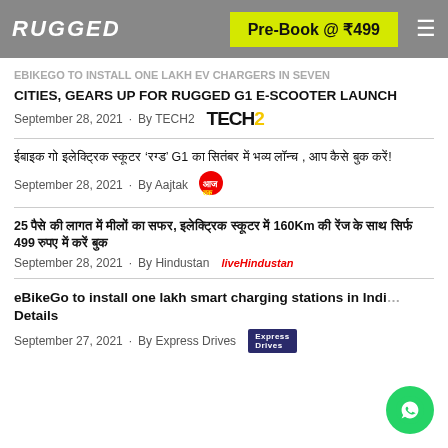RUGGED | Pre-Book @ ₹499
EBIKEGO TO INSTALL ONE LAKH EV CHARGERS IN SEVEN CITIES, GEARS UP FOR RUGGED G1 E-SCOOTER LAUNCH
September 28, 2021 · By TECH2
ईबाइक गो इलेक्ट्रिक स्कूटर 'रग्ड' G1 का सितंबर में भव्य लॉन्च , आप कैसे बुक करें!
September 28, 2021 · By Aajtak
25 पैसे की लागत में मीलों का सफर, इलेक्ट्रिक स्कूटर में 160Km की रेंज के साथ सिर्फ 499 रुपए में करें बुक
September 28, 2021 · By Hindustan
eBikeGo to install one lakh smart charging stations in India: Details
September 27, 2021 · By Express Drives